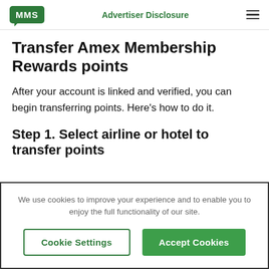MMS | Advertiser Disclosure
Transfer Amex Membership Rewards points
After your account is linked and verified, you can begin transferring points. Here’s how to do it.
Step 1. Select airline or hotel to transfer points
We use cookies to improve your experience and to enable you to enjoy the full functionality of our site.